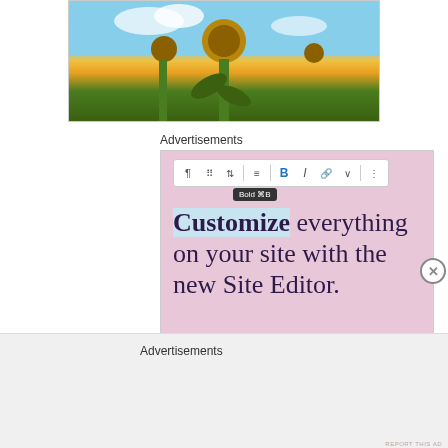[Figure (photo): Sunflower photo with blue sky background, partially cropped at top of page]
Advertisements
[Figure (screenshot): WordPress.com advertisement showing a text editor toolbar with Bold tooltip active, text reading 'Customize everything on your site with the new Site Editor.' with a 'Start Today' button and WordPress.com logo with pink border and 'Add caption' label]
Advertisements